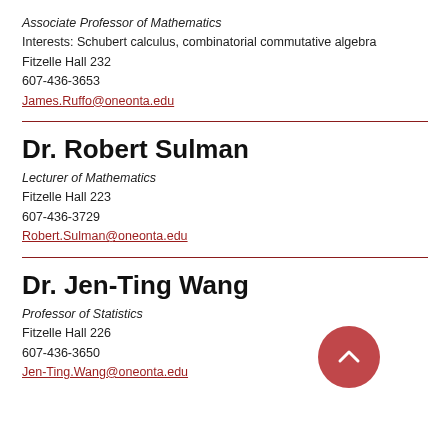Associate Professor of Mathematics
Interests: Schubert calculus, combinatorial commutative algebra
Fitzelle Hall 232
607-436-3653
James.Ruffo@oneonta.edu
Dr. Robert Sulman
Lecturer of Mathematics
Fitzelle Hall 223
607-436-3729
Robert.Sulman@oneonta.edu
Dr. Jen-Ting Wang
Professor of Statistics
Fitzelle Hall 226
607-436-3650
Jen-Ting.Wang@oneonta.edu